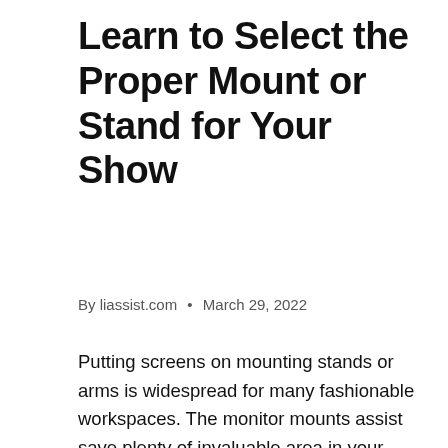Learn to Select the Proper Mount or Stand for Your Show
By liassist.com • March 29, 2022
Putting screens on mounting stands or arms is widespread for many fashionable workspaces. The monitor mounts assist save plenty of invaluable area in your desk that you should utilize to place different stuff, reminiscent of your espresso cup or household photos.
Mounting your monitor additionally permits you to alter the peak and viewing angles to realize a snug